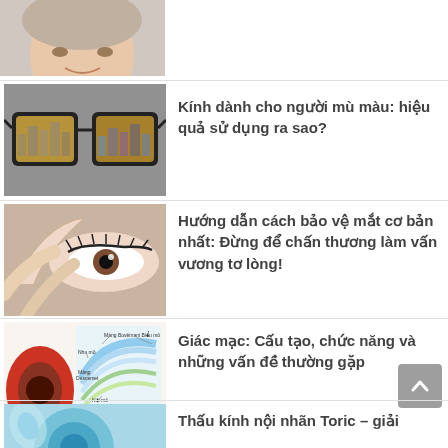[Figure (photo): Close-up photo of a man's face, partial crop showing forehead and smile]
[Figure (photo): Photo of eyeglasses with yellow-tinted lenses showing city view through them]
Kính dành cho người mù màu: hiệu quả sử dụng ra sao?
[Figure (photo): Close-up photo of a woman's eye and hand forming a circle]
Hướng dẫn cách bảo vệ mắt cơ bản nhất: Đừng để chấn thương làm vấn vương tơ lòng!
[Figure (illustration): Diagram of cornea anatomy showing layers: Màng Boweman, Biểu mô, Màng Descemet, Nội mô, Giác mạc]
Giác mạc: Cấu tạo, chức năng và những vấn đề thường gặp
[Figure (photo): Partial image showing toric intraocular lens]
Thấu kính nội nhãn Toric – giải